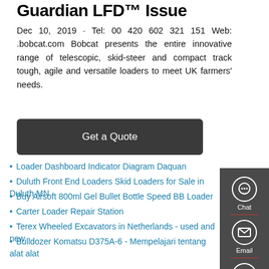Guardian LFD™ Issue
Dec 10, 2019 · Tel: 00 420 602 321 151 Web: .bobcat.com Bobcat presents the entire innovative range of telescopic, skid-steer and compact track tough, agile and versatile loaders to meet UK farmers' needs.
[Figure (other): Get a Quote button (dark rounded rectangle)]
Loader Dashboard Indicator Diagram Daquan
Duluth Front End Loaders Skid Loaders for Sale in Duluth MN
Buy Airsoft 800ml Gel Bullet Bottle Speed BB Loader
Carter Loader Repair Station
Terex Wheeled Excavators in Netherlands - used and new
Bulldozer Komatsu D375A-6 - Mempelajari tentang alat alat
Caterpillar 35 Excavator
72cc Post Hole Digger Earth Auger eBay
Mecalac crawler excavators specs Diggers specifications
[Figure (infographic): Right sidebar with Chat, Email, and Contact icons on dark gray background]